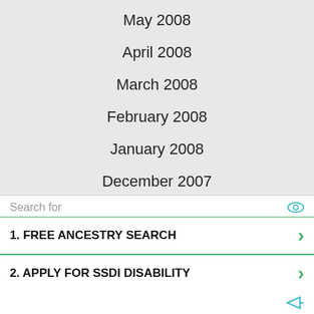May 2008
April 2008
March 2008
February 2008
January 2008
December 2007
February 2007
January 2007
December 2006
November 2006
October 2006
September 2006
Search for
1.  FREE ANCESTRY SEARCH
2.  APPLY FOR SSDI DISABILITY